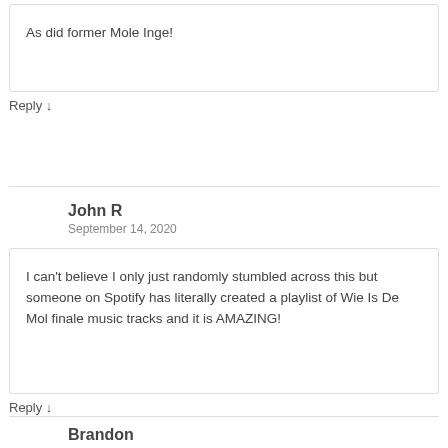As did former Mole Inge!
Reply ↓
John R
September 14, 2020
I can't believe I only just randomly stumbled across this but someone on Spotify has literally created a playlist of Wie Is De Mol finale music tracks and it is AMAZING!
Reply ↓
Brandon